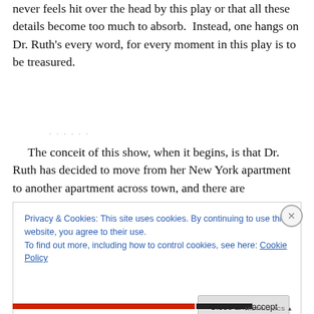never feels hit over the head by this play or that all these details become too much to absorb.  Instead, one hangs on Dr. Ruth's every word, for every moment in this play is to be treasured.
The conceit of this show, when it begins, is that Dr. Ruth has decided to move from her New York apartment to another apartment across town, and there are
Privacy & Cookies: This site uses cookies. By continuing to use this website, you agree to their use.
To find out more, including how to control cookies, see here: Cookie Policy
Close and accept